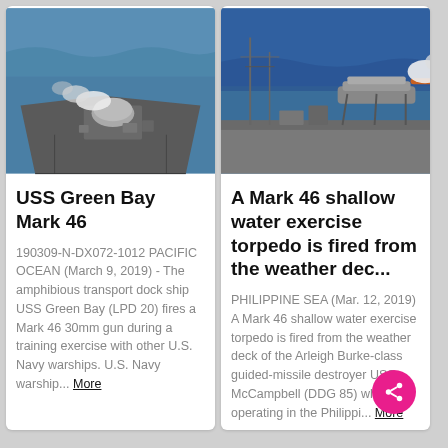[Figure (photo): USS Green Bay ship deck viewed from above and behind the gun turret, which is firing with smoke visible. Open ocean in background.]
USS Green Bay Mark 46
190309-N-DX072-1012 PACIFIC OCEAN (March 9, 2019) - The amphibious transport dock ship USS Green Bay (LPD 20) fires a Mark 46 30mm gun during a training exercise with other U.S. Navy warships. U.S. Navy warship... More
[Figure (photo): A torpedo being launched from the weather deck of a naval destroyer, with smoke trail visible over blue ocean water.]
A Mark 46 shallow water exercise torpedo is fired from the weather dec...
PHILIPPINE SEA (Mar. 12, 2019) A Mark 46 shallow water exercise torpedo is fired from the weather deck of the Arleigh Burke-class guided-missile destroyer USS McCampbell (DDG 85) while operating in the Philippi... More